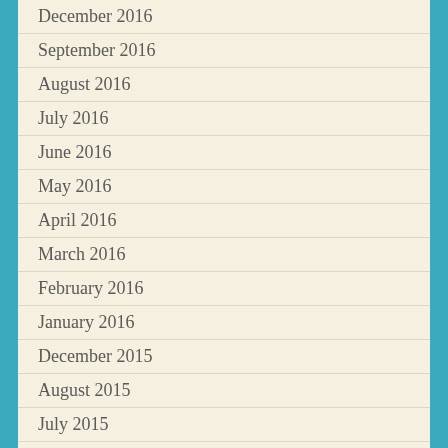December 2016
September 2016
August 2016
July 2016
June 2016
May 2016
April 2016
March 2016
February 2016
January 2016
December 2015
August 2015
July 2015